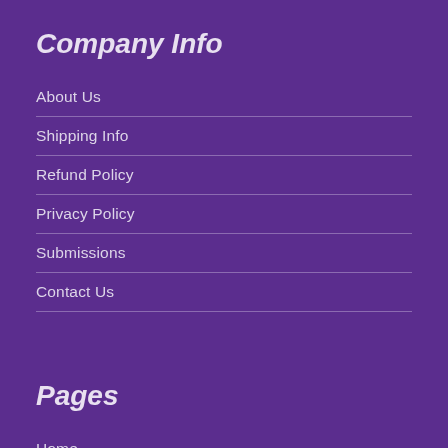Company Info
About Us
Shipping Info
Refund Policy
Privacy Policy
Submissions
Contact Us
Pages
Home